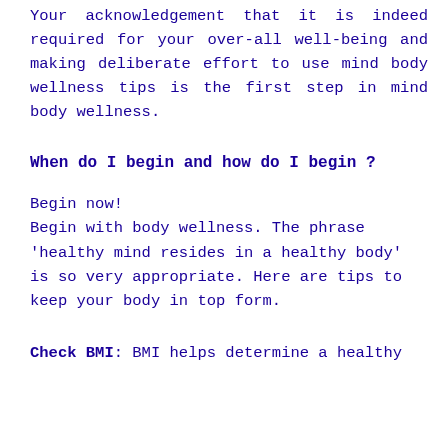Your acknowledgement that it is indeed required for your over-all well-being and making deliberate effort to use mind body wellness tips is the first step in mind body wellness.
When do I begin and how do I begin ?
Begin now!
Begin with body wellness. The phrase 'healthy mind resides in a healthy body' is so very appropriate. Here are tips to keep your body in top form.
Check BMI: BMI helps determine a healthy